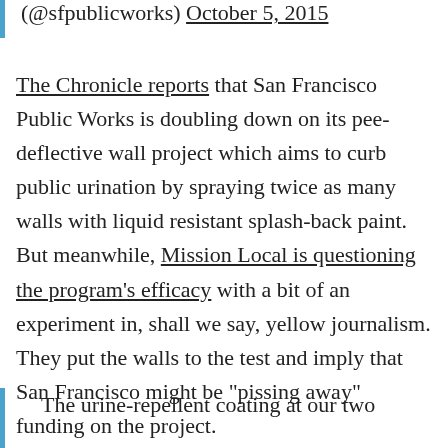(@sfpublicworks) October 5, 2015
The Chronicle reports that San Francisco Public Works is doubling down on its pee-deflective wall project which aims to curb public urination by spraying twice as many walls with liquid resistant splash-back paint. But meanwhile, Mission Local is questioning the program's efficacy with a bit of an experiment in, shall we say, yellow journalism. They put the walls to the test and imply that San Francisco might be "pissing away" funding on the project.
The urine-repellent coating at our two